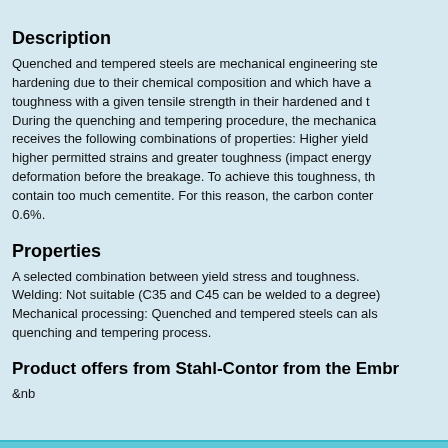Description
Quenched and tempered steels are mechanical engineering ste... hardening due to their chemical composition and which have a... toughness with a given tensile strength in their hardened and t... During the quenching and tempering procedure, the mechanica... receives the following combinations of properties: Higher yield... higher permitted strains and greater toughness (impact energy... deformation before the breakage. To achieve this toughness, th... contain too much cementite. For this reason, the carbon conter... 0.6%.
Properties
A selected combination between yield stress and toughness. Welding: Not suitable (C35 and C45 can be welded to a degree)... Mechanical processing: Quenched and tempered steels can als... quenching and tempering process.
Product offers from Stahl-Contor from the Embr
&nb